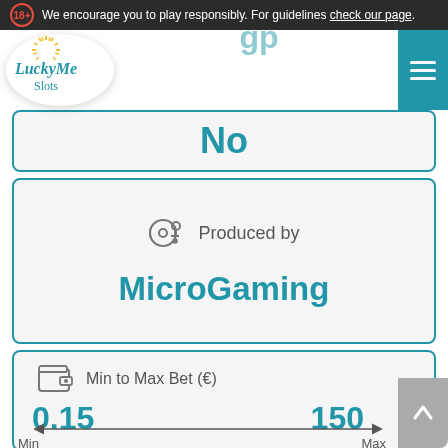18+ We encourage you to play responsibly. For guidelines check our page.
[Figure (logo): LuckyMe Slots logo in oval with sun rays, white background]
No
Produced by
MicroGaming
Min to Max Bet (€)
0.15
150
Min
Max